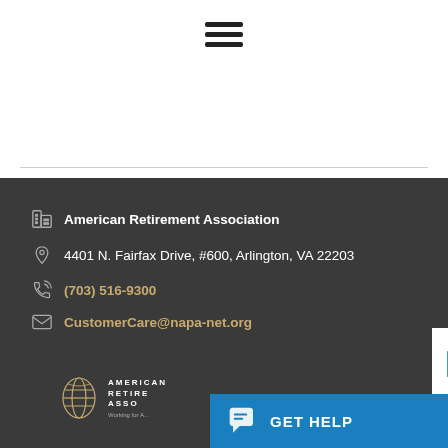[Figure (other): Hamburger menu icon (three horizontal lines)]
American Retirement Association
4401 N. Fairfax Drive, #600, Arlington, VA 22203
(703) 516-9300
CustomerCare@napa-net.org
[Figure (logo): American Retirement Association logo with shield/globe icon and text 'AMERICAN RETIREMENT ASSOCIATION Working for A...']
[Figure (other): GET HELP chat button bar in blue]
[Figure (other): reCAPTCHA badge (partial, bottom right)]